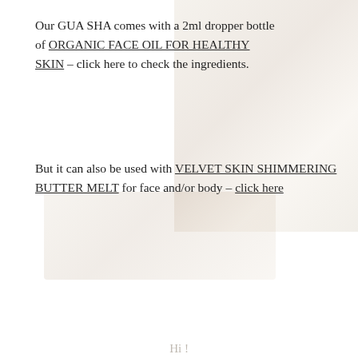Our GUA SHA comes with a 2ml dropper bottle of ORGANIC FACE OIL FOR HEALTHY SKIN - click here to check the ingredients.
[Figure (photo): Faded background product photo of a gua sha stone and oil bottle]
But it can also be used with VELVET SKIN SHIMMERING BUTTER MELT for face and/or body - click here
Hi ! I'm Sylwia, welcome to my store. Let's get to know each other.
Benefits
There is so much goodness in this home ritual as long as you do it right (check directions of use):
GUA SHA face massage releases the tension in the muscles and stress that we have built over the day.